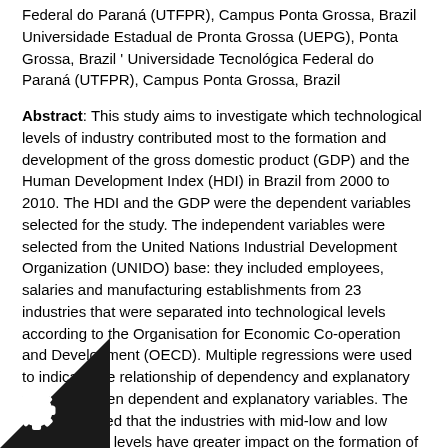Federal do Paraná (UTFPR), Campus Ponta Grossa, Brazil Universidade Estadual de Pronta Grossa (UEPG), Ponta Grossa, Brazil ' Universidade Tecnológica Federal do Paraná (UTFPR), Campus Ponta Grossa, Brazil
Abstract: This study aims to investigate which technological levels of industry contributed most to the formation and development of the gross domestic product (GDP) and the Human Development Index (HDI) in Brazil from 2000 to 2010. The HDI and the GDP were the dependent variables selected for the study. The independent variables were selected from the United Nations Industrial Development Organization (UNIDO) base: they included employees, salaries and manufacturing establishments from 23 industries that were separated into technological levels according to the Organisation for Economic Co-operation and Development (OECD). Multiple regressions were used to indicate the relationship of dependency and explanatory power between dependent and explanatory variables. The results showed that the industries with mid-low and low technological levels have greater impact on the formation of GDP and HDI in Brazil. These two technological levels primarily developed with the arrival of multinationals in the 1990s and 2000s, as found in the theory background. An empirical